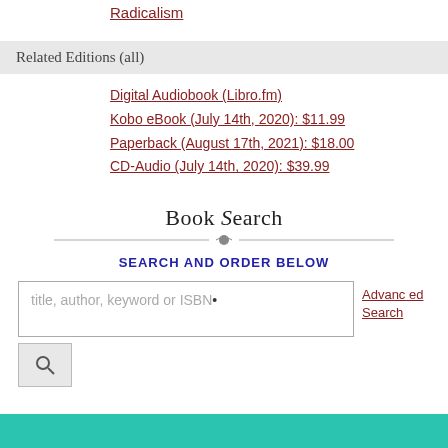Radicalism
Related Editions (all)
Digital Audiobook (Libro.fm)
Kobo eBook (July 14th, 2020): $11.99
Paperback (August 17th, 2021): $18.00
CD-Audio (July 14th, 2020): $39.99
Book Search
SEARCH AND ORDER BELOW
title, author, keyword or ISBN
Advanced Search